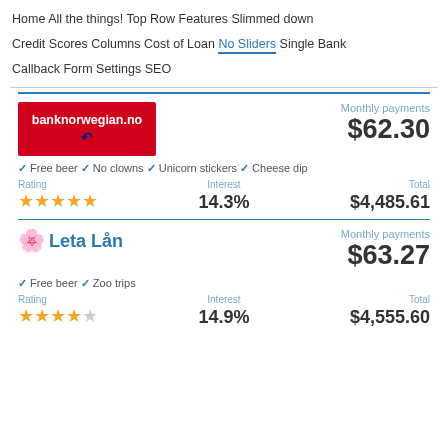Home  All the things!  Top Row  Features  Slimmed down  Credit Scores  Columns  Cost of Loan  No Sliders  Single Bank  Callback Form  Settings  SEO
Monthly payments $62.30 | Free beer | No clowns | Unicorn stickers | Cheese dip | Rating: 5 stars | Interest: 14.3% | Total: $4,485.61
Monthly payments $63.27 | Free beer | Zoo trips | Rating: 4 stars | Interest: 14.9% | Total: $4,555.60